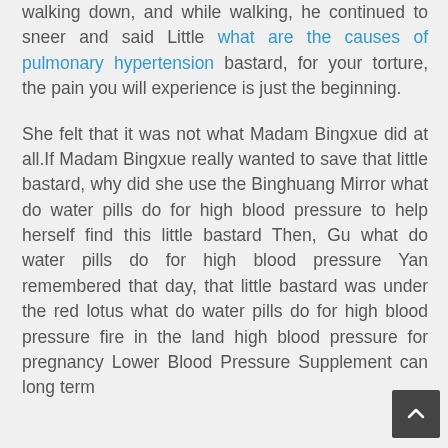walking down, and while walking, he continued to sneer and said Little what are the causes of pulmonary hypertension bastard, for your torture, the pain you will experience is just the beginning.
She felt that it was not what Madam Bingxue did at all.If Madam Bingxue really wanted to save that little bastard, why did she use the Binghuang Mirror what do water pills do for high blood pressure to help herself find this little bastard Then, Gu what do water pills do for high blood pressure Yan remembered that day, that little bastard was under the red lotus what do water pills do for high blood pressure fire in the land high blood pressure for pregnancy Lower Blood Pressure Supplement can long term